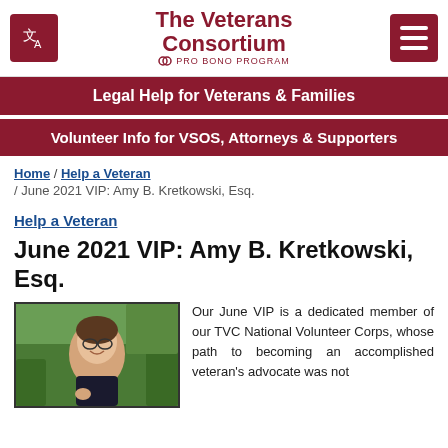[Figure (logo): The Veterans Consortium Pro Bono Program logo with translate icon and hamburger menu]
Legal Help for Veterans & Families
Volunteer Info for VSOS, Attorneys & Supporters
Home / Help a Veteran / June 2021 VIP: Amy B. Kretkowski, Esq.
Help a Veteran
June 2021 VIP: Amy B. Kretkowski, Esq.
[Figure (photo): Photo of Amy B. Kretkowski, a woman with glasses smiling, outdoors with green background]
Our June VIP is a dedicated member of our TVC National Volunteer Corps, whose path to becoming an accomplished veteran's advocate was not